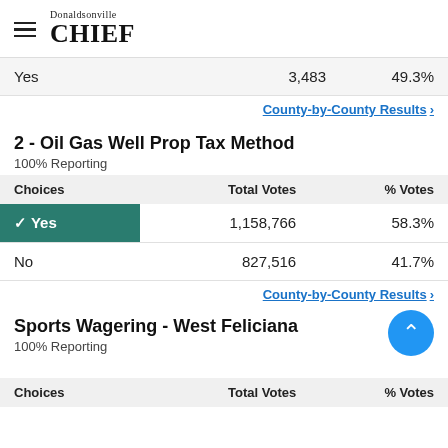Donaldsonville CHIEF
| Choices | Total Votes | % Votes |
| --- | --- | --- |
| Yes | 3,483 | 49.3% |
County-by-County Results ›
2 - Oil Gas Well Prop Tax Method
100% Reporting
| Choices | Total Votes | % Votes |
| --- | --- | --- |
| ✓ Yes | 1,158,766 | 58.3% |
| No | 827,516 | 41.7% |
County-by-County Results ›
Sports Wagering - West Feliciana
100% Reporting
| Choices | Total Votes | % Votes |
| --- | --- | --- |